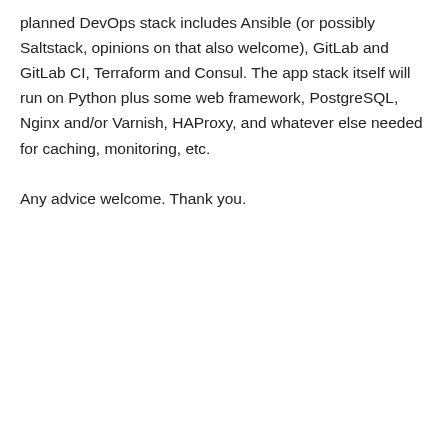planned DevOps stack includes Ansible (or possibly Saltstack, opinions on that also welcome), GitLab and GitLab CI, Terraform and Consul. The app stack itself will run on Python plus some web framework, PostgreSQL, Nginx and/or Varnish, HAProxy, and whatever else needed for caching, monitoring, etc.

Any advice welcome. Thank you.
★ Like
↪ Reply
Advertisements
[Figure (illustration): Macy's advertisement banner with red background, woman's face, text 'KISS BORING LIPS GOODBYE', 'SHOP NOW' button, and Macy's star logo]